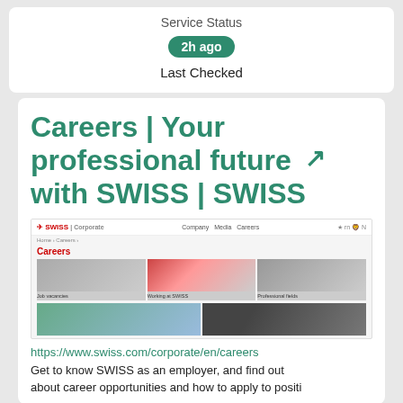Service Status
2h ago
Last Checked
Careers | Your professional future with SWISS | SWISS
[Figure (screenshot): Screenshot of the SWISS corporate careers page showing the Careers heading in red, navigation bar with Company, Media, Careers links, and a grid of images for Job vacancies, Working at SWISS, Professional fields, and two more image tiles.]
https://www.swiss.com/corporate/en/careers
Get to know SWISS as an employer, and find out about career opportunities and how to apply to positions